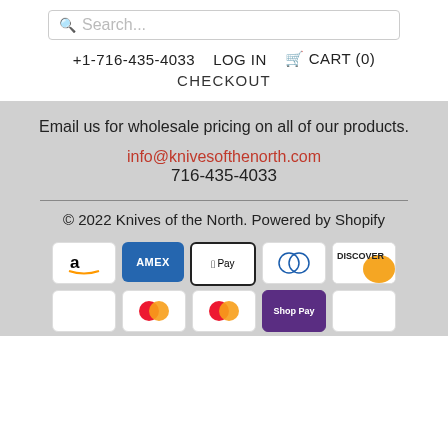Search... +1-716-435-4033 LOG IN CART (0) CHECKOUT
Email us for wholesale pricing on all of our products.
info@knivesofthenorth.com
716-435-4033
© 2022 Knives of the North. Powered by Shopify
[Figure (other): Payment method icons: Amazon, American Express, Apple Pay, Diners Club, Discover, and more]